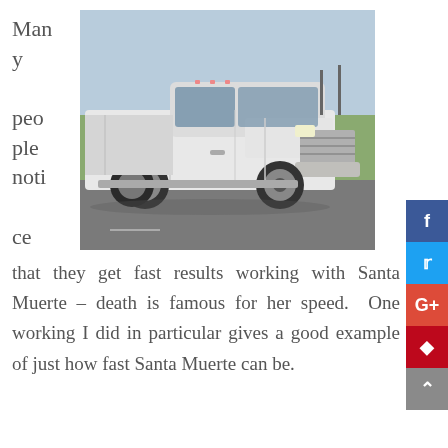[Figure (photo): White Ford F-350 or similar large pickup truck photographed in a parking lot on a sunny day]
Many people notice that they get fast results working with Santa Muerte – death is famous for her speed. One working I did in particular gives a good example of just how fast Santa Muerte can be.